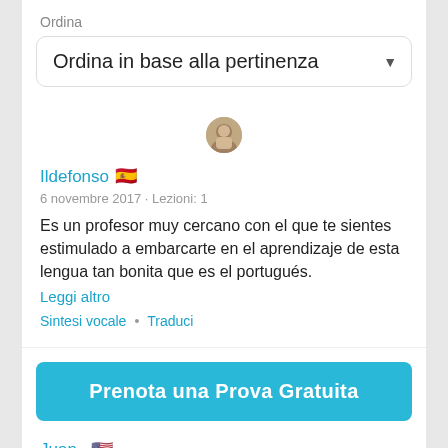Ordina
Ordina in base alla pertinenza
[Figure (photo): Small circular avatar photo of a person]
Ildefonso 🇪🇸
6 novembre 2017 · Lezioni: 1
Es un profesor muy cercano con el que te sientes estimulado a embarcarte en el aprendizaje de esta lengua tan bonita que es el portugués.
Leggi altro
Sintesi vocale  •  Traduci
Prenota una Prova Gratuita
Juan 🇺🇸